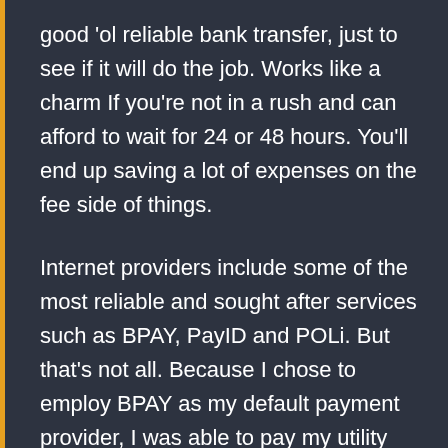good 'ol reliable bank transfer, just to see if it will do the job. Works like a charm If you're not in a rush and can afford to wait for 24 or 48 hours. You'll end up saving a lot of expenses on the fee side of things.
Internet providers include some of the most reliable and sought after services such as BPAY, PayID and POLi. But that's not all. Because I chose to employ BPAY as my default payment provider, I was able to pay my utility bills through BPAY and put some of my acquired digital currencies to good use.
Now, I know what you're thinking. All this selection and speed must come at a hefty price on the back end. While trading fees do start out at a considerable